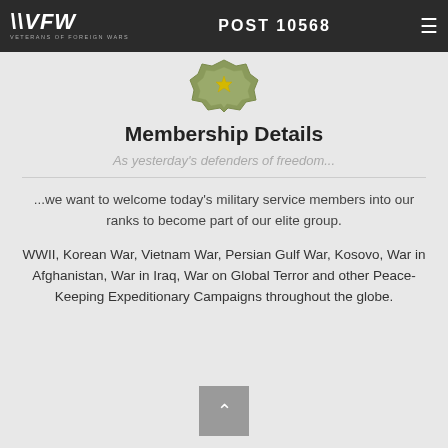POST 10568
[Figure (illustration): VFW badge/medal icon, partially visible at top center]
Membership Details
As yesterday's defenders of freedom...
...we want to welcome today's military service members into our ranks to become part of our elite group.
WWII, Korean War, Vietnam War, Persian Gulf War, Kosovo, War in Afghanistan, War in Iraq, War on Global Terror and other Peace-Keeping Expeditionary Campaigns throughout the globe.